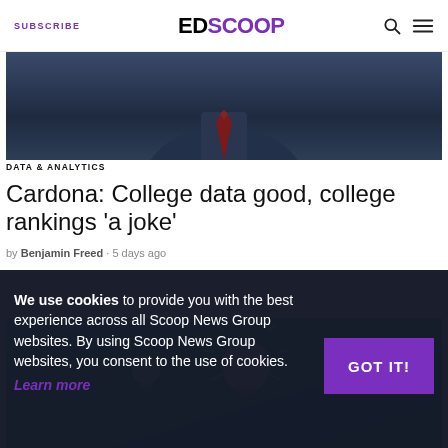SUBSCRIBE | EDSCOOP
[Figure (photo): Dark-toned photo of a person in a suit with red tie, cropped to show shoulders and lower face against a dark background.]
DATA & ANALYTICS
Cardona: College data good, college rankings 'a joke'
by Benjamin Freed · 5 days ago
[Figure (illustration): Teal/cyan illustrated background with glowing light bulb icon and radiating lines, suggesting innovation or ideas.]
We use cookies to provide you with the best experience across all Scoop News Group websites. By using Scoop News Group websites, you consent to the use of cookies. Learn more